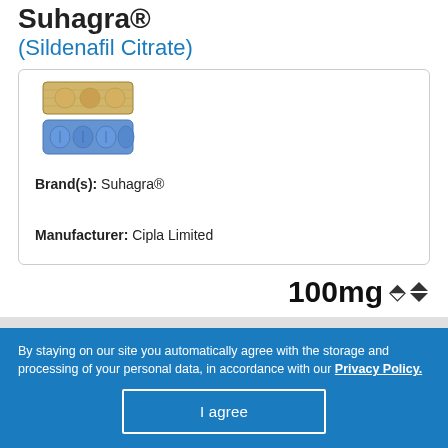Suhagra® (Sildenafil Citrate)
[Figure (photo): Product image showing blister packs of Suhagra tablets — gold foil strip on top, blue pill strip below]
Brand(s): Suhagra®
Manufacturer: Cipla Limited
100mg
| PACKAGE | PRICE | ORDER |
| --- | --- | --- |
By staying on our site you automatically agree with the storage and processing of your personal data, in accordance with our Privacy Policy.
I agree